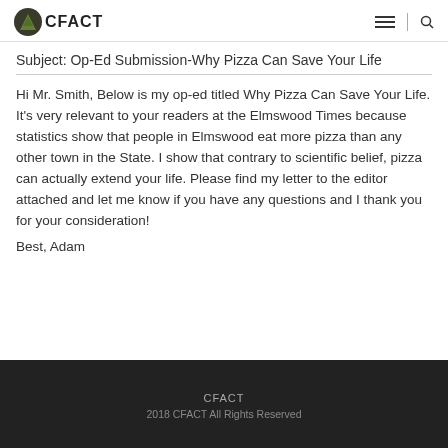CFACT
Subject: Op-Ed Submission-Why Pizza Can Save Your Life
Hi Mr. Smith, Below is my op-ed titled Why Pizza Can Save Your Life. It's very relevant to your readers at the Elmswood Times because statistics show that people in Elmswood eat more pizza than any other town in the State. I show that contrary to scientific belief, pizza can actually extend your life. Please find my letter to the editor attached and let me know if you have any questions and I thank you for your consideration!
Best, Adam
CFACT
2018 CFACT All Rights Reserved